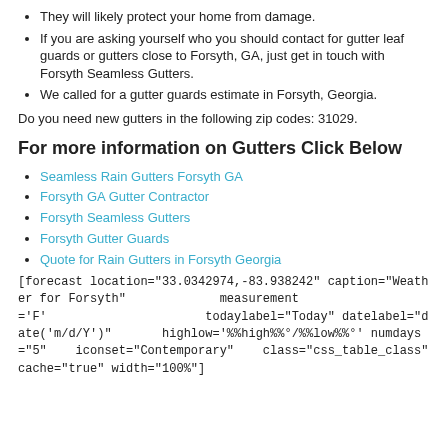They will likely protect your home from damage.
If you are asking yourself who you should contact for gutter leaf guards or gutters close to Forsyth, GA, just get in touch with Forsyth Seamless Gutters.
We called for a gutter guards estimate in Forsyth, Georgia.
Do you need new gutters in the following zip codes: 31029.
For more information on Gutters Click Below
Seamless Rain Gutters Forsyth GA
Forsyth GA Gutter Contractor
Forsyth Seamless Gutters
Forsyth Gutter Guards
Quote for Rain Gutters in Forsyth Georgia
[forecast location="33.0342974,-83.938242" caption="Weather for Forsyth" measurement='F' todaylabel="Today" datelabel="date('m/d/Y')" highlow='%%high%%°/%%low%%°' numdays="5" iconset="Contemporary" class="css_table_class" cache="true" width="100%"]